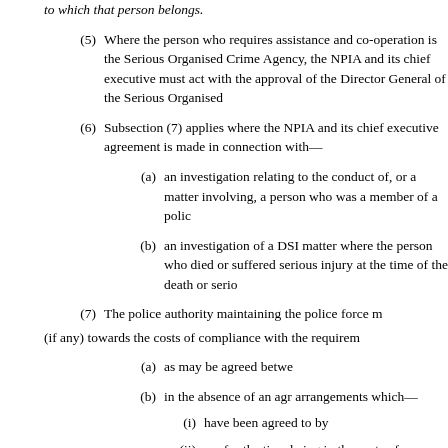to which that person belongs.
(5)   Where the person who requires assistance and co-operation is the Serious Organised Crime Agency, the NPIA and its chief executive must act with the approval of the Director General of the Serious Organised Crime Agency.
(6)   Subsection (7) applies where the NPIA and its chief executive agreement is made in connection with—
(a)   an investigation relating to the conduct of, or a matter involving, a person who was a member of a police force;
(b)   an investigation of a DSI matter where the person who died or suffered serious injury at the time of the death or serious injury was a person serving with the police;
(7)   The police authority maintaining the police force must pay to the NPIA an amount (if any) towards the costs of compliance with the requirement—
(a)   as may be agreed between the police authority and the NPIA;
(b)   in the absence of an agreement under paragraph (a), in accordance with arrangements which—
(i)   have been agreed to by persons of a prescribed description;
(ii)   are for the time being in force, and which make provision for determining the costs of compliance by a police force or police authority with requirements of the kind mentioned in subsection (6);
(c)   in the absence of any such arrangements, as determined by the Secretary of State.